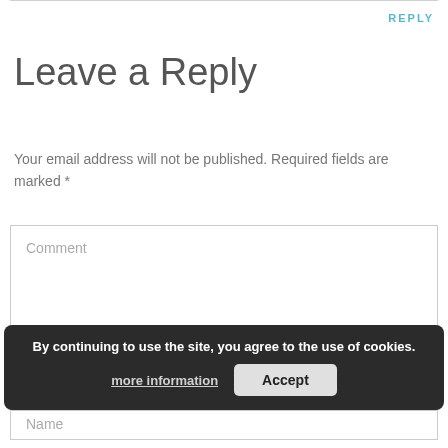REPLY
Leave a Reply
Your email address will not be published. Required fields are marked *
[Figure (screenshot): Comment text area input field with placeholder text 'Comment']
By continuing to use the site, you agree to the use of cookies. more information Accept
Name